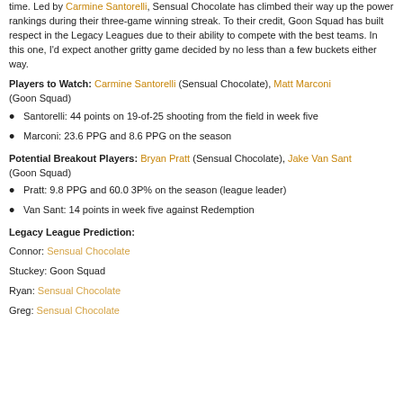time. Led by Carmine Santorelli, Sensual Chocolate has climbed their way up the power rankings during their three-game winning streak. To their credit, Goon Squad has built respect in the Legacy Leagues due to their ability to compete with the best teams. In this one, I'd expect another gritty game decided by no less than a few buckets either way.
Players to Watch: Carmine Santorelli (Sensual Chocolate), Matt Marconi (Goon Squad)
Santorelli: 44 points on 19-of-25 shooting from the field in week five
Marconi: 23.6 PPG and 8.6 PPG on the season
Potential Breakout Players: Bryan Pratt (Sensual Chocolate), Jake Van Sant (Goon Squad)
Pratt: 9.8 PPG and 60.0 3P% on the season (league leader)
Van Sant: 14 points in week five against Redemption
Legacy League Prediction:
Connor: Sensual Chocolate
Stuckey: Goon Squad
Ryan: Sensual Chocolate
Greg: Sensual Chocolate